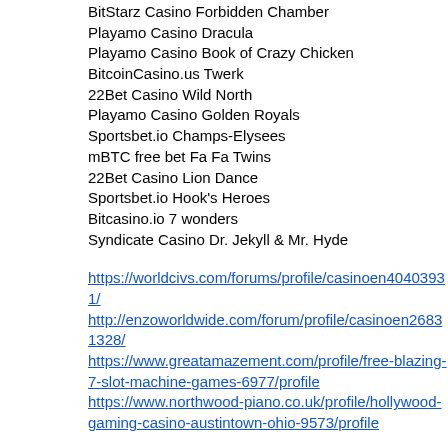BitStarz Casino Forbidden Chamber
Playamo Casino Dracula
Playamo Casino Book of Crazy Chicken
BitcoinCasino.us Twerk
22Bet Casino Wild North
Playamo Casino Golden Royals
Sportsbet.io Champs-Elysees
mBTC free bet Fa Fa Twins
22Bet Casino Lion Dance
Sportsbet.io Hook's Heroes
Bitcasino.io 7 wonders
Syndicate Casino Dr. Jekyll & Mr. Hyde
https://worldcivs.com/forums/profile/casinoen40403931/
http://enzoworldwide.com/forum/profile/casinoen26831328/
https://www.greatamazement.com/profile/free-blazing-7-slot-machine-games-6977/profile
https://www.northwood-piano.co.uk/profile/hollywood-gaming-casino-austintown-ohio-9573/profile